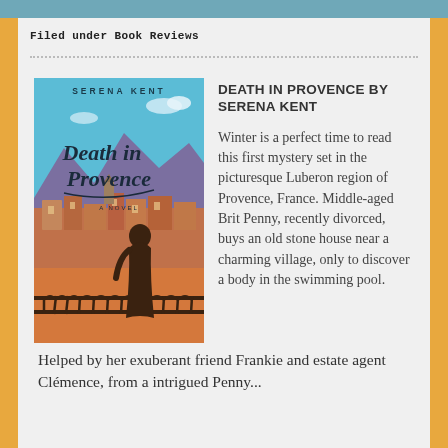Filed under Book Reviews
[Figure (illustration): Book cover of 'Death in Provence' by Serena Kent showing a silhouette of a woman on a balcony overlooking a Provençal village with mountains in background, in orange, teal and purple tones.]
DEATH IN PROVENCE BY SERENA KENT
Winter is a perfect time to read this first mystery set in the picturesque Luberon region of Provence, France. Middle-aged Brit Penny, recently divorced, buys an old stone house near a charming village, only to discover a body in the swimming pool.
Helped by her exuberant friend Frankie and estate agent Clémence, from a intrigued Penny...